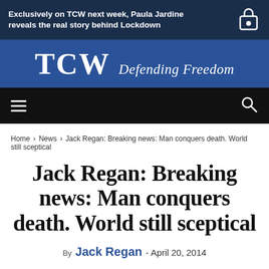Exclusively on TCW next week, Paula Jardine reveals the real story behind Lockdown
[Figure (logo): TCW Defending Freedom logo on blue background]
[Figure (screenshot): Navigation bar with hamburger menu and search icon on black background]
Home › News › Jack Regan: Breaking news: Man conquers death. World still sceptical
Jack Regan: Breaking news: Man conquers death. World still sceptical
By Jack Regan - April 20, 2014